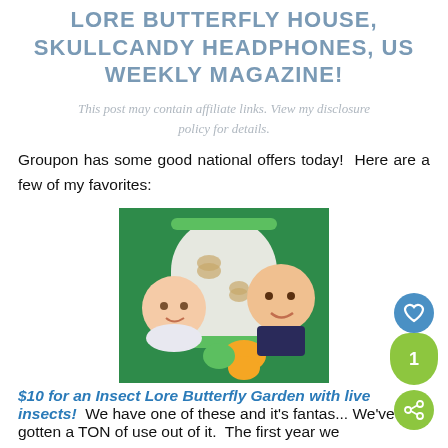LORE BUTTERFLY HOUSE, SKULLCANDY HEADPHONES, US WEEKLY MAGAZINE!
This post may contain affiliate links. View my disclosure policy for details.
Groupon has some good national offers today!  Here are a few of my favorites:
[Figure (photo): Two smiling children holding a cylindrical butterfly garden habitat with butterfly decorations, against a green background]
$10 for an Insect Lore Butterfly Garden with live insects!  We have one of these and it's fantastic!  We've gotten a TON of use out of it.  The first year we